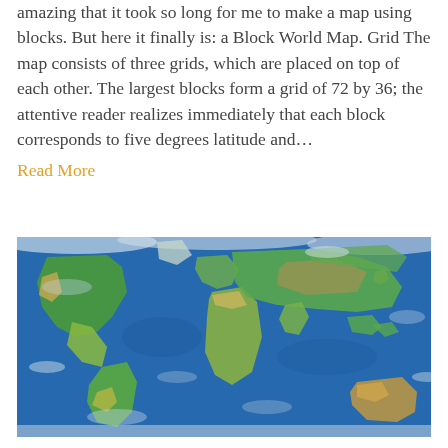amazing that it took so long for me to make a map using blocks. But here it finally is: a Block World Map. Grid The map consists of three grids, which are placed on top of each other. The largest blocks form a grid of 72 by 36; the attentive reader realizes immediately that each block corresponds to five degrees latitude and…
Read More
[Figure (map): A satellite/topographic world map showing continents including North America, South America, Europe, Africa, Asia, and Australia on a blue ocean background with cloud cover visible.]